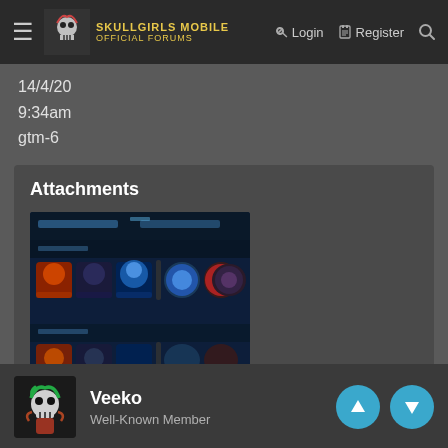Skullgirls Mobile Official Forums — Login | Register
14/4/20
9:34am
gtm-6
Attachments
[Figure (screenshot): Game screenshot thumbnail labeled Screenshot_2020-04-14-09...]
Veeko
Well-Known Member